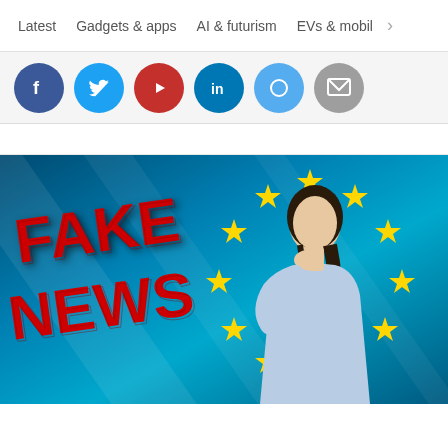Latest  Gadgets & apps  AI & futurism  EVs & mobil >
[Figure (illustration): Row of social media share buttons: Facebook (blue), Twitter (blue), YouTube (red), LinkedIn (dark blue), Pinterest (light blue), Email (gray), all circular icons partially visible at top]
[Figure (photo): Main editorial image: Woman with braided hair and thoughtful pose (hand on chin) against a blue EU flag background with yellow stars, with large red 'FAKE NEWS' text on left side]